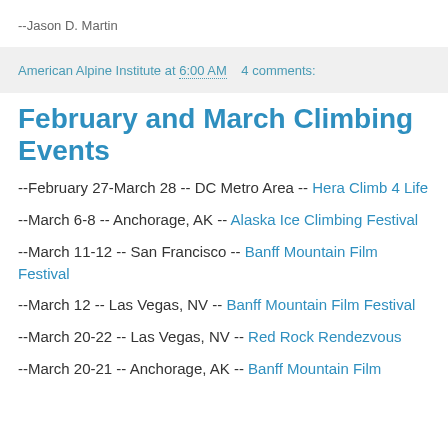--Jason D. Martin
American Alpine Institute at 6:00 AM    4 comments:
February and March Climbing Events
--February 27-March 28 -- DC Metro Area -- Hera Climb 4 Life
--March 6-8 -- Anchorage, AK -- Alaska Ice Climbing Festival
--March 11-12 -- San Francisco -- Banff Mountain Film Festival
--March 12 -- Las Vegas, NV -- Banff Mountain Film Festival
--March 20-22 -- Las Vegas, NV -- Red Rock Rendezvous
--March 20-21 -- Anchorage, AK -- Banff Mountain Film